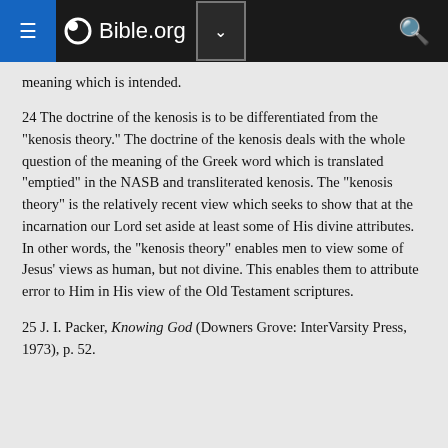Bible.org
meaning which is intended.
24 The doctrine of the kenosis is to be differentiated from the "kenosis theory." The doctrine of the kenosis deals with the whole question of the meaning of the Greek word which is translated "emptied" in the NASB and transliterated kenosis. The "kenosis theory" is the relatively recent view which seeks to show that at the incarnation our Lord set aside at least some of His divine attributes. In other words, the "kenosis theory" enables men to view some of Jesus' views as human, but not divine. This enables them to attribute error to Him in His view of the Old Testament scriptures.
25 J. I. Packer, Knowing God (Downers Grove: InterVarsity Press, 1973), p. 52.